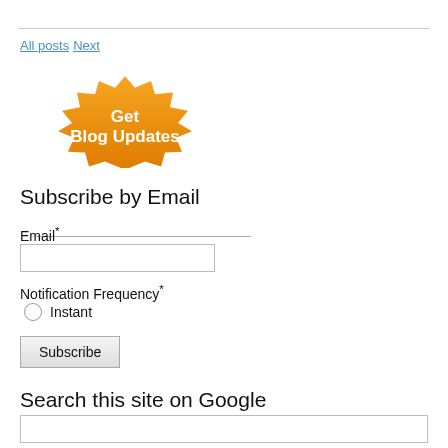All posts  Next
[Figure (illustration): Orange starburst badge with white bold text reading 'Get Blog Updates']
Subscribe by Email
Email*
Notification Frequency*
Instant
Subscribe
Search this site on Google